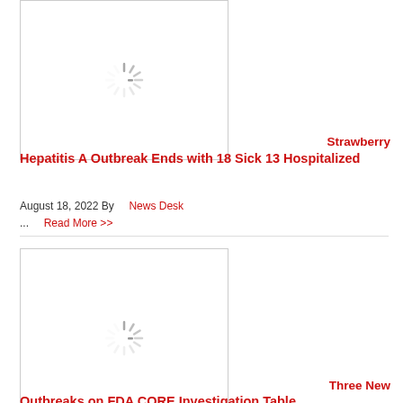[Figure (photo): Loading spinner / placeholder image for first article about Strawberry Hepatitis A Outbreak]
Strawberry Hepatitis A Outbreak Ends with 18 Sick 13 Hospitalized
August 18, 2022 By   News Desk
...   Read More >>
[Figure (photo): Loading spinner / placeholder image for second article about Three New Outbreaks on FDA CORE Investigation Table]
Three New Outbreaks on FDA CORE Investigation Table
August 18, 2022 By   Linda Larson